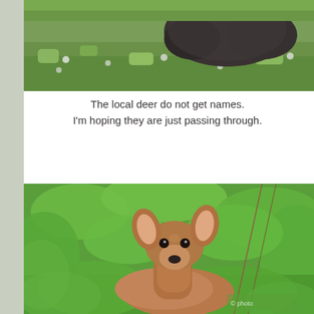[Figure (photo): A dark animal (possibly a groundhog or woodchuck) in a grassy field with clover and wildflowers]
The local deer do not get names.
I'm hoping they are just passing through.
[Figure (photo): A white-tailed deer looking directly at the camera, surrounded by lush green foliage and leaves]